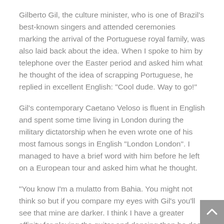Gilberto Gil, the culture minister, who is one of Brazil's best-known singers and attended ceremonies marking the arrival of the Portuguese royal family, was also laid back about the idea. When I spoke to him by telephone over the Easter period and asked him what he thought of the idea of scrapping Portuguese, he replied in excellent English: "Cool dude. Way to go!"
Gil's contemporary Caetano Veloso is fluent in English and spent some time living in London during the military dictatorship when he even wrote one of his most famous songs in English "London London". I managed to have a brief word with him before he left on a European tour and asked him what he thought.
"You know I'm a mulatto from Bahia. You might not think so but if you compare my eyes with Gil's you'll see that mine are darker. I think I have a greater affinity for playing the guitar and dancing than he does but, at the same time, I have a kind of melancholy which Gil doesn't have and I think I got that from my European ancestors who were probably Portuguese. I would be happy to say goodbye to Portuguese because it is a sad, heavy language that does not fit in with our…